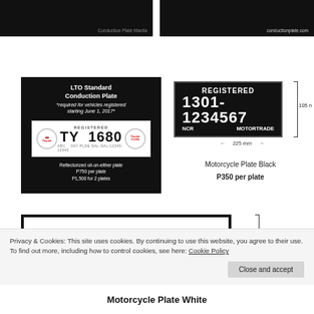[Figure (photo): Black background image with small text 'Conduction Plate Manila' at bottom right]
[Figure (photo): Black background image with text 'conductionplate.com' at bottom right]
[Figure (photo): LTO Standard Conduction Plate image showing TY 1680 plate on black background with pricing info]
[Figure (engineering-diagram): Motorcycle Plate Black showing REGISTERED 1301-1234567, NCR and MOTORTRADE, with 225mm width and 105mm height dimensions]
Motorcycle Plate Black
P350 per plate
[Figure (engineering-diagram): Large white motorcycle plate showing REGISTERED 1301-1234567 with 105mm height dimension annotation]
Privacy & Cookies: This site uses cookies. By continuing to use this website, you agree to their use.
To find out more, including how to control cookies, see here: Cookie Policy
Close and accept
Motorcycle Plate White